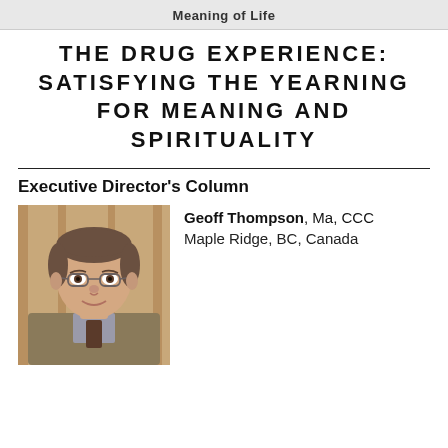Meaning of Life
THE DRUG EXPERIENCE: SATISFYING THE YEARNING FOR MEANING AND SPIRITUALITY
Executive Director's Column
[Figure (photo): Headshot photo of Geoff Thompson, a middle-aged man with glasses wearing a suit jacket]
Geoff Thompson, Ma, CCC
Maple Ridge, BC, Canada